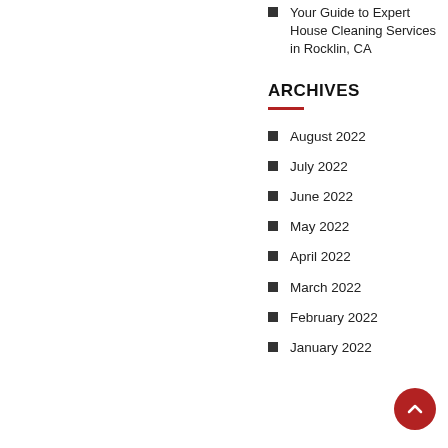Your Guide to Expert House Cleaning Services in Rocklin, CA
ARCHIVES
August 2022
July 2022
June 2022
May 2022
April 2022
March 2022
February 2022
January 2022